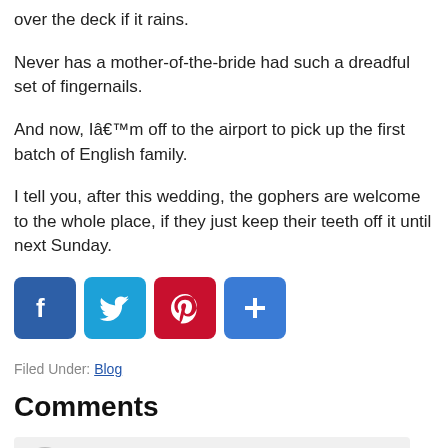over the deck if it rains.
Never has a mother-of-the-bride had such a dreadful set of fingernails.
And now, Iâ€™m off to the airport to pick up the first batch of English family.
I tell you, after this wedding, the gophers are welcome to the whole place, if they just keep their teeth off it until next Sunday.
[Figure (infographic): Social share buttons: Facebook (blue), Twitter (light blue), Pinterest (red), Plus/More (blue)]
Filed Under: Blog
Comments
[Figure (other): Comment section with avatar placeholder and commenter name area]